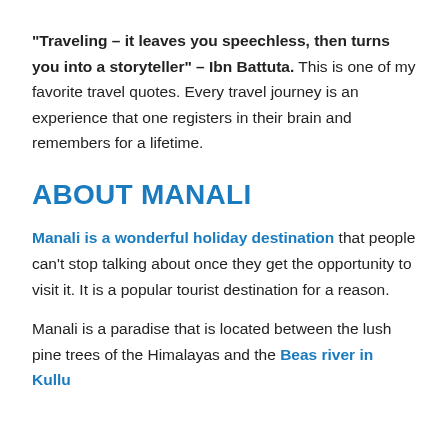"Traveling – it leaves you speechless, then turns you into a storyteller" – Ibn Battuta. This is one of my favorite travel quotes. Every travel journey is an experience that one registers in their brain and remembers for a lifetime.
ABOUT MANALI
Manali is a wonderful holiday destination that people can't stop talking about once they get the opportunity to visit it. It is a popular tourist destination for a reason.
Manali is a paradise that is located between the lush pine trees of the Himalayas and the Beas river in Kullu